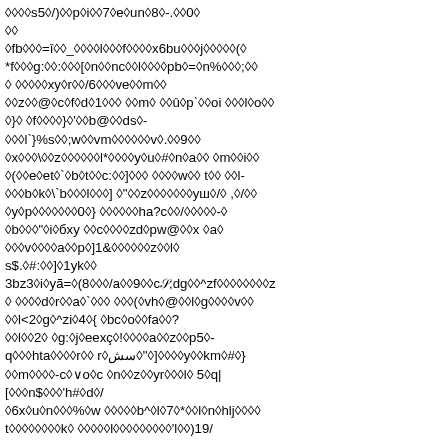◆◆◆◆s5◆/)◆◆p◆i◆◆7◆e◆un◆8◆-.◆◆0◆◆◆
◆fb◆◆◆=î◆◆_◆◆◆◆l◆◆◆f◆◆◆◆x6bu◆◆◆j◆◆◆◆◆(◆
*f◆◆◆g:◆◆:◆◆◆[◆n◆◆nc◆◆l◆◆◆◆pb◆=◆n%◆◆◆;◆◆
◆ ◆◆◆◆◆xy◆r◆◆/6◆◆◆ve◆◆m◆◆
◆◆z◆◆@◆c◆f◆d◆1◆◆◆ ◆◆m◆ ◆◆û◆p`◆◆oi ◆◆◆l◆o◆◆
◆}◆ ◆f◆◆◆◆}◆'◆◆b@◆◆ds◆-
◆◆◆l`}%s◆◆;w◆◆vm◆◆◆◆◆◆v◆.◆◆9◆◆
◆x◆◆◆\ ◆◆z◆◆◆◆◆◆l*◆◆◆◆y◆u◆#◆n◆a◆◆ ◆m◆◆i◆◆
◆(◆◆e◆et◆`◆b◆t◆◆c:◆◆]◆◆◆ ◆◆◆◆w◆◆ t◆◆ ◆◆l-
◆◆◆b◆k◆\`b◆◆◆l◆◆◆] ◆"◆◆z◆◆◆◆◆◆◆yш◆/◆ ,◆/◆◆
◆y◆p◆◆◆◆◆◆◆0◆} ◆◆◆◆◆◆ha?c◆◆/◆◆◆◆◆-◆
◆b◆◆◆"◆i◆бxy ◆◆c◆◆◆◆zd◆pw@◆◆x ◆a◆
◆◆◆v◆◆◆◆a◆◆p◆]1&◆◆◆◆◆◆z◆◆l◆
s$.◆#:◆◆]◆1yk◆◆
3bz3◆i◆yã=◆(8◆◆◆/a◆◆9◆◆c𝒮;dg◆◆^zf◆◆◆◆◆◆◆◆z
◆ ◆◆◆◆d◆r◆◆a◆`◆◆◆ ◆◆◆(◆vh◆@◆◆l◆g◆◆◆◆v◆◆
◆◆l<2◆g◆^zi◆4◆{ ◆bc◆o◆◆fa◆◆?
◆◆l◆◆2◆ ◆g:◆j◆eexç◆!◆◆◆◆a◆◆z◆◆p5◆-
q◆◆◆hta◆◆◆◆r◆◆ r◆سش◆"◆]◆◆◆◆y◆◆km◆#◆}
◆◆m◆◆◆◆-c◆∨o◆c ◆n◆◆z◆◆yr◆◆◆l◆ 5◆q|
[◆◆◆n$◆◆◆'h#◆d◆/
◆6x◆u◆n◆◆◆%◆w ◆◆◆◆◆b^◆l◆7◆*◆◆l◆n◆hlj◆◆◆◆
t◆◆◆◆◆◆◆◆k◆ ◆◆◆◆◆l◆◆◆◆◆◆◆◆◆'l◆◆)19/